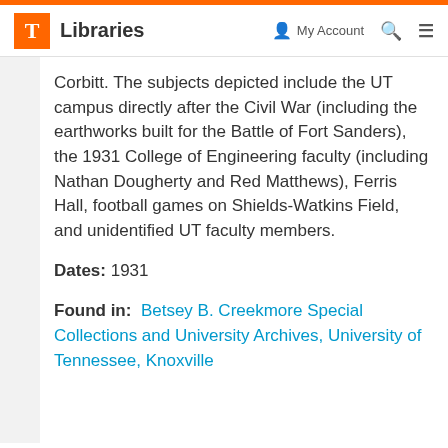T Libraries | My Account | Search | Menu
Corbitt. The subjects depicted include the UT campus directly after the Civil War (including the earthworks built for the Battle of Fort Sanders), the 1931 College of Engineering faculty (including Nathan Dougherty and Red Matthews), Ferris Hall, football games on Shields-Watkins Field, and unidentified UT faculty members.
Dates: 1931
Found in: Betsey B. Creekmore Special Collections and University Archives, University of Tennessee, Knoxville